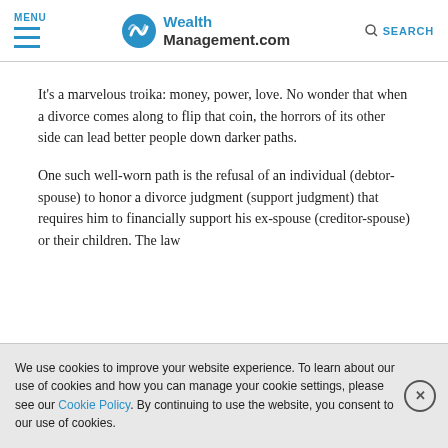MENU | WealthManagement.com | SEARCH
It's a marvelous troika: money, power, love. No wonder that when a divorce comes along to flip that coin, the horrors of its other side can lead better people down darker paths.
One such well-worn path is the refusal of an individual (debtor-spouse) to honor a divorce judgment (support judgment) that requires him to financially support his ex-spouse (creditor-spouse) or their children. The law
We use cookies to improve your website experience. To learn about our use of cookies and how you can manage your cookie settings, please see our Cookie Policy. By continuing to use the website, you consent to our use of cookies.